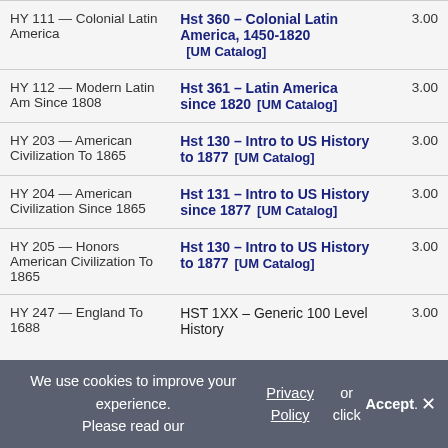| Source Course | Transfer Equivalent | Credits |
| --- | --- | --- |
| HY 111 — Colonial Latin America | Hst 360 – Colonial Latin America, 1450-1820  [UM Catalog] | 3.00 |
| HY 112 — Modern Latin Am Since 1808 | Hst 361 – Latin America since 1820  [UM Catalog] | 3.00 |
| HY 203 — American Civilization To 1865 | Hst 130 – Intro to US History to 1877  [UM Catalog] | 3.00 |
| HY 204 — American Civilization Since 1865 | Hst 131 – Intro to US History since 1877  [UM Catalog] | 3.00 |
| HY 205 — Honors American Civilization To 1865 | Hst 130 – Intro to US History to 1877  [UM Catalog] | 3.00 |
| HY 247 — England To 1688 | HST 1XX – Generic 100 Level History | 3.00 |
We use cookies to improve your experience. Please read our Privacy Policy or click Accept.